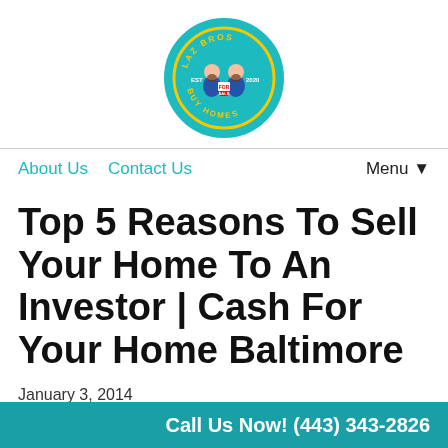[Figure (logo): Laz Bros Buy Homes circular logo with two cartoon characters holding a For Sale sign, teal background with yellow text]
About Us   Contact Us   Menu ▼
Top 5 Reasons To Sell Your Home To An Investor | Cash For Your Home Baltimore
January 3, 2014
By Chris
Deciding rather or not to sell your home is one of the
Call Us Now! (443) 343-2826